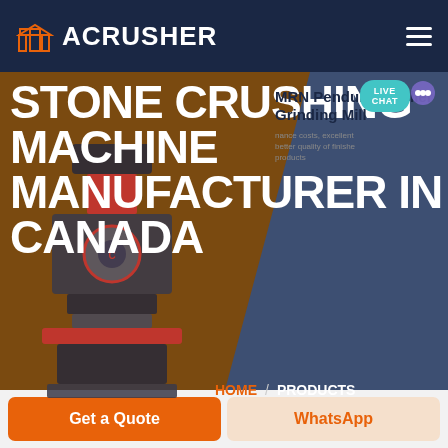[Figure (logo): ACRUSHER logo with orange building icon on dark navy navbar]
[Figure (screenshot): Hero banner showing stone crushing machine with brown and dark blue background sections, large white bold title text STONE CRUSHING MACHINE MANUFACTURER IN CANADA, MRN Pendulum Roller Grinding Mill product card on right, LIVE CHAT bubble, HOME / PRODUCTS breadcrumb]
HOME / PRODUCTS
MRN Pendulum Roller Grinding Mill
nance costs, excellent better quality of finishe products
Get a Quote
WhatsApp